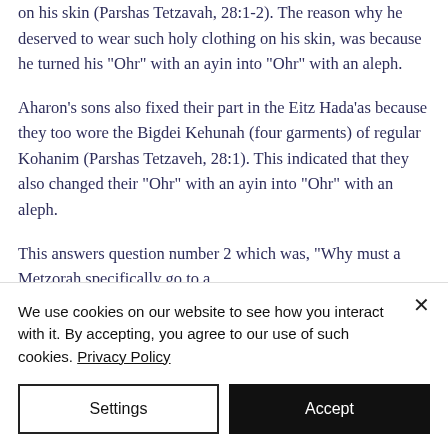on his skin (Parshas Tetzavah, 28:1-2). The reason why he deserved to wear such holy clothing on his skin, was because he turned his "Ohr" with an ayin into "Ohr" with an aleph.
Aharon's sons also fixed their part in the Eitz Hada'as because they too wore the Bigdei Kehunah (four garments) of regular Kohanim (Parshas Tetzaveh, 28:1). This indicated that they also changed their "Ohr" with an ayin into "Ohr" with an aleph.
This answers question number 2 which was, "Why must a Metzorah specifically go to a
We use cookies on our website to see how you interact with it. By accepting, you agree to our use of such cookies. Privacy Policy